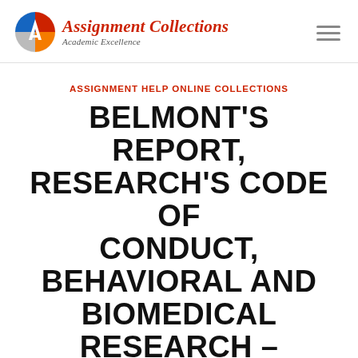Assignment Collections — Academic Excellence
ASSIGNMENT HELP ONLINE COLLECTIONS
BELMONT'S REPORT, RESEARCH'S CODE OF CONDUCT, BEHAVIORAL AND BIOMEDICAL RESEARCH – ASSIGNMENT HELP ONLINE COLLECTIONS